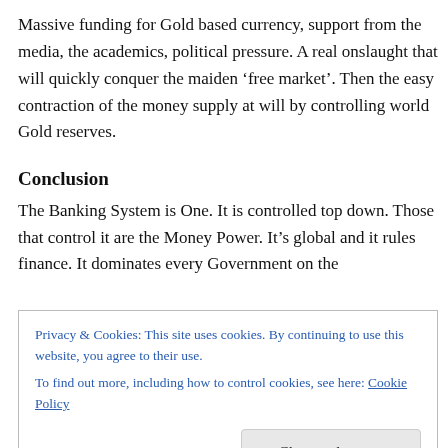Massive funding for Gold based currency, support from the media, the academics, political pressure. A real onslaught that will quickly conquer the maiden ‘free market’. Then the easy contraction of the money supply at will by controlling world Gold reserves.
Conclusion
The Banking System is One. It is controlled top down. Those that control it are the Money Power. It’s global and it rules finance. It dominates every Government on the
Privacy & Cookies: This site uses cookies. By continuing to use this website, you agree to their use.
To find out more, including how to control cookies, see here: Cookie Policy
Finance those under control or to be brought under control